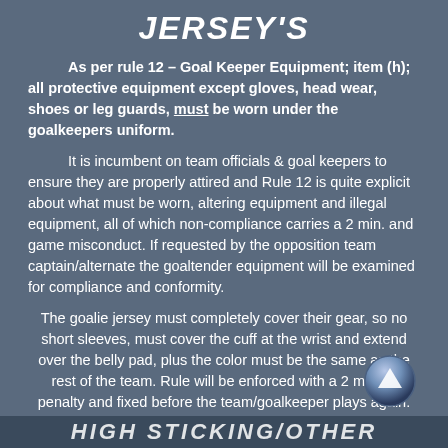JERSEY'S
As per rule 12 – Goal Keeper Equipment; item (h); all protective equipment except gloves, head wear, shoes or leg guards, must be worn under the goalkeepers uniform.
It is incumbent on team officials & goal keepers to ensure they are properly attired and Rule 12 is quite explicit about what must be worn, altering equipment and illegal equipment, all of which non-compliance carries a 2 min. and game misconduct. If requested by the opposition team captain/alternate the goaltender equipment will be examined for compliance and conformity.
The goalie jersey must completely cover their gear, so no short sleeves, must cover the cuff at the wrist and extend over the belly pad, plus the color must be the same as the rest of the team. Rule will be enforced with a 2 minute penalty and fixed before the team/goalkeeper plays again.
HIGH STICKING/OTHER